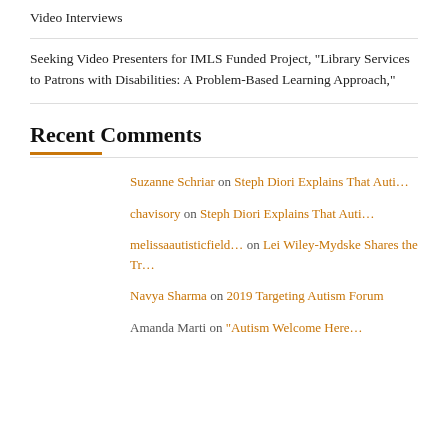Video Interviews
Seeking Video Presenters for IMLS Funded Project, “Library Services to Patrons with Disabilities: A Problem-Based Learning Approach,”
Recent Comments
Suzanne Schriar on Steph Diori Explains That Auti…
chavisory on Steph Diori Explains That Auti…
melissaautisticfield… on Lei Wiley-Mydske Shares the Tr…
Navya Sharma on 2019 Targeting Autism Forum
Amanda Marti on “Autism Welcome Here…